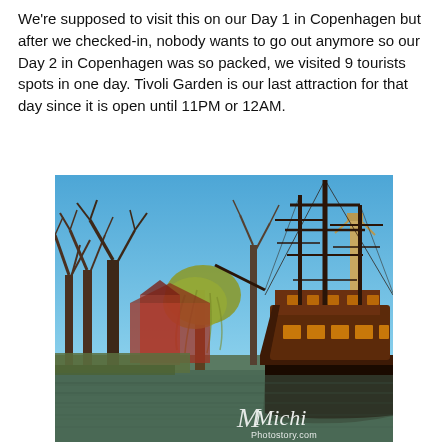We're supposed to visit this on our Day 1 in Copenhagen but after we checked-in, nobody wants to go out anymore so our Day 2 in Copenhagen was so packed, we visited 9 tourists spots in one day. Tivoli Garden is our last attraction for that day since it is open until 11PM or 12AM.
[Figure (photo): A large wooden tall ship docked on a canal in Tivoli Gardens, Copenhagen. Bare winter trees and a weeping willow are visible on the left bank, with red buildings behind. Clear blue sky. Water reflects the scene. A watermark reading 'Michi Photostory.com' appears in the bottom right corner.]